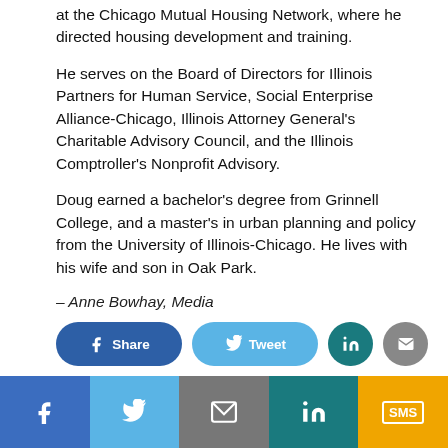at the Chicago Mutual Housing Network, where he directed housing development and training.
He serves on the Board of Directors for Illinois Partners for Human Service, Social Enterprise Alliance-Chicago, Illinois Attorney General's Charitable Advisory Council, and the Illinois Comptroller's Nonprofit Advisory.
Doug earned a bachelor's degree from Grinnell College, and a master's in urban planning and policy from the University of Illinois-Chicago. He lives with his wife and son in Oak Park.
– Anne Bowhay, Media
[Figure (infographic): Social share buttons: Facebook Share, Tweet, LinkedIn, Email icon buttons in rounded pill shapes, and a bottom bar with Facebook, Twitter, Email, LinkedIn, SMS icons]